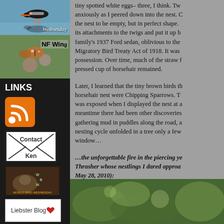[Figure (photo): Bird (oystercatcher) standing on shore with reflection, with 'Wednesday' text overlay]
[Figure (photo): Butterfly on flowers with 'NF Wings' text overlay]
LINKS
[Figure (logo): RSS feed orange icon]
[Figure (logo): Contact Ken envelope graphic]
[Figure (photo): World Bird Wednesday badge with bird photo]
[Figure (logo): Liebster Blog heart badge]
tiny spotted white eggs– three, I think. Two anxiously as I peered down into the nest. C the nest to be empty, but in perfect shape. its attachments to the twigs and put it up b family's 1937 Ford sedan, oblivious to the Migratory Bird Treaty Act of 1918. It was possession. Over time, much of the straw f pressed cup of horsehair remained.
Later, I learned that the tiny brown birds th horsehair nest were Chipping Sparrows. T was exposed when I displayed the nest at a meantime there had been other discoveries gathering mud in puddles along the road, a nesting cycle unfolded in a tree only a few window…
…the unforgettable fire in the piercing ye Thrasher whose nestlings I dared approa May 28, 2010):
[Figure (photo): Close-up green foliage/bird photo at bottom of page]